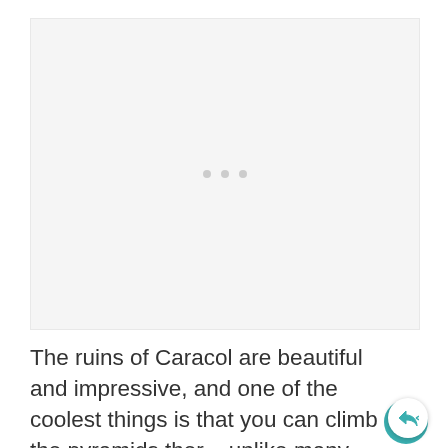[Figure (other): Image placeholder with three light gray dots indicating a loading or carousel image area]
The ruins of Caracol are beautiful and impressive, and one of the coolest things is that you can climb the pyramids there, unlike many pyramids in Mexico which have closed off the climbing to tourists